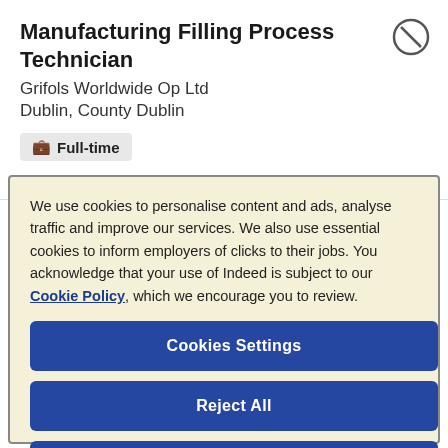Manufacturing Filling Process Technician
Grifols Worldwide Op Ltd
Dublin, County Dublin
Full-time
We use cookies to personalise content and ads, analyse traffic and improve our services. We also use essential cookies to inform employers of clicks to their jobs. You acknowledge that your use of Indeed is subject to our Cookie Policy, which we encourage you to review.
Cookies Settings
Reject All
Accept All Cookies